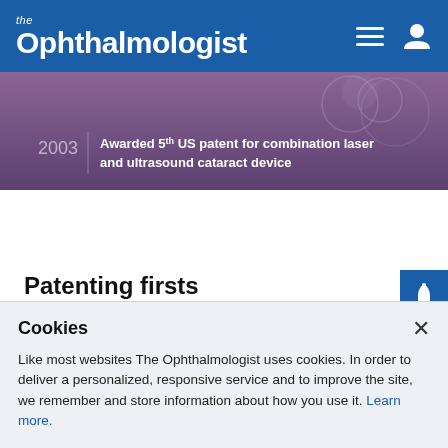the Ophthalmologist
[Figure (screenshot): Purple/mauve colored timeline strip showing year 2003 with text: Awarded 5th US patent for combination laser and ultrasound cataract device]
Patenting firsts
Historians have credited me as the first African American physician to receive a medical patent, but I prefer to be recognized simply as the first to
Cookies

Like most websites The Ophthalmologist uses cookies. In order to deliver a personalized, responsive service and to improve the site, we remember and store information about how you use it. Learn more.